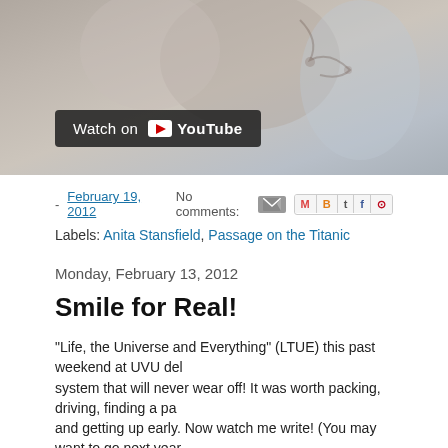[Figure (screenshot): YouTube video thumbnail showing a person, with 'Watch on YouTube' overlay button in the lower left]
- February 19, 2012  No comments:  [email icon] [share icons M B t f p]
Labels: Anita Stansfield, Passage on the Titanic
Monday, February 13, 2012
Smile for Real!
"Life, the Universe and Everything" (LTUE) this past weekend at UVU del... system that will never wear off! It was worth packing, driving, finding a pa... and getting up early. Now watch me write! (You may want to go next year... While you're contemplating your writing conference attendance, contemp... They're smiling, aren't they, or is that a grimace?
When you smile, make sure it reaches your eyes. You can even smile wit... straight, as long as it reaches your eyes.
Have a HAPPY VALENTINE'S DAY!
Do you smile with your eyes?